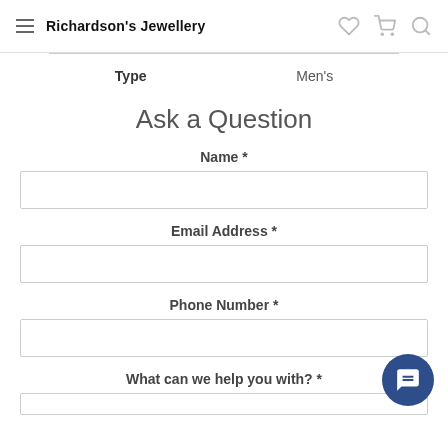Richardson's Jewellery
Type   Men's
Ask a Question
Name *
Email Address *
Phone Number *
What can we help you with? *